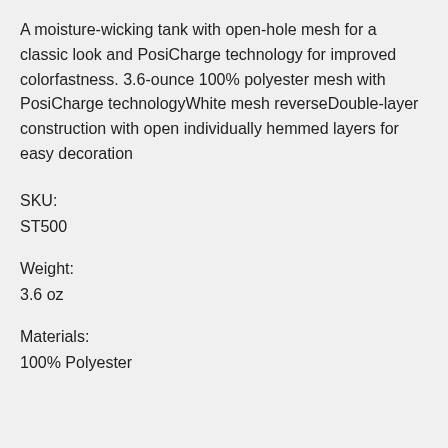A moisture-wicking tank with open-hole mesh for a classic look and PosiCharge technology for improved colorfastness. 3.6-ounce 100% polyester mesh with PosiCharge technologyWhite mesh reverseDouble-layer construction with open individually hemmed layers for easy decoration
SKU:
ST500
Weight:
3.6 oz
Materials:
100% Polyester